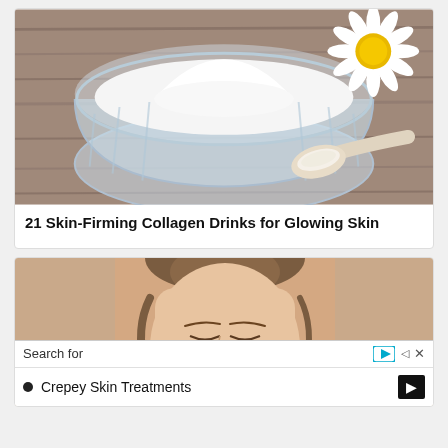[Figure (photo): Glass bowl filled with white powder (collagen) beside a daisy flower and a wooden spoon with powder, on a wooden surface]
21 Skin-Firming Collagen Drinks for Glowing Skin
[Figure (photo): Young woman with brown hair pinned up, looking down, against a beige background, with a search ad overlay at the bottom]
Search for
Crepey Skin Treatments